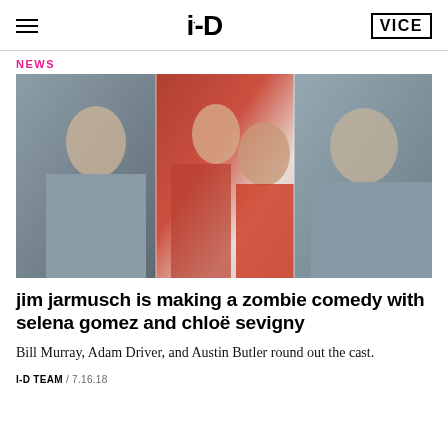i-D | VICE
NEWS
[Figure (photo): Collage of three film stills showing actors in character: left panel shows a woman in a grey uniform (Chloë Sevigny), center panel shows a young man in a dark red shirt with a woman in a red top (Austin Butler and Selena Gomez), right panel shows an older man in a grey uniform (Bill Murray).]
jim jarmusch is making a zombie comedy with selena gomez and chloë sevigny
Bill Murray, Adam Driver, and Austin Butler round out the cast.
I-D TEAM / 7.16.18